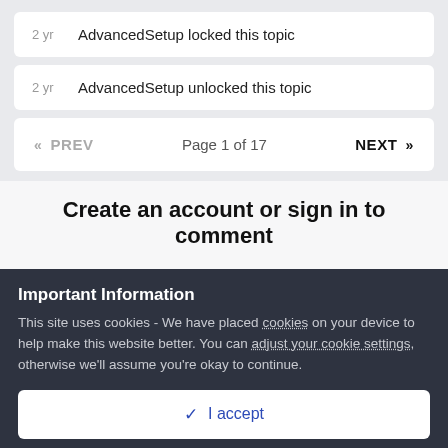2 yr   AdvancedSetup locked this topic
2 yr   AdvancedSetup unlocked this topic
« PREV   Page 1 of 17   NEXT »
Create an account or sign in to comment
Important Information
This site uses cookies - We have placed cookies on your device to help make this website better. You can adjust your cookie settings, otherwise we'll assume you're okay to continue.
✓ I accept